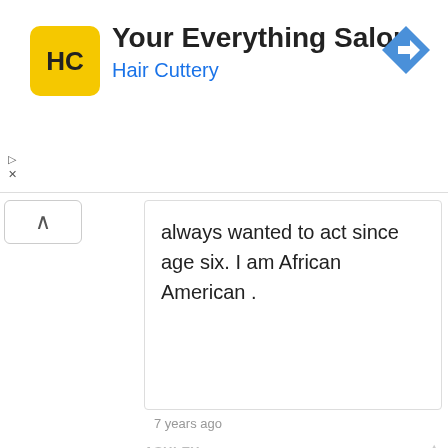[Figure (screenshot): Advertisement banner for Hair Cuttery - Your Everything Salon with logo and navigation arrow icon]
always wanted to act since age six. I am African American .
7 years ago
ASHLEY
-1
Hi , my name is Ashley and I am 11 years old . I would love to be part of this show . I am not shy and I would love to experience this opportunity and make sure this show is a hit